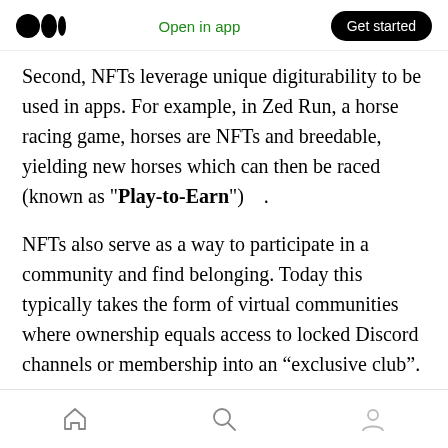Medium logo | Open in app | Get started
Second, NFTs leverage unique digiturability to be used in apps. For example, in Zed Run, a horse racing game, horses are NFTs and breedable, yielding new horses which can then be raced (known as "Play-to-Earn")   .
NFTs also serve as a way to participate in a community and find belonging. Today this typically takes the form of virtual communities where ownership equals access to locked Discord channels or membership into an “exclusive club”.
Early crypto owners started the NFT wave and
Home | Search | Profile